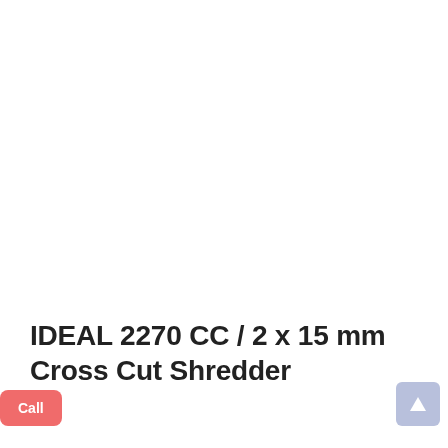IDEAL 2270 CC / 2 x 15 mm Cross Cut Shredder